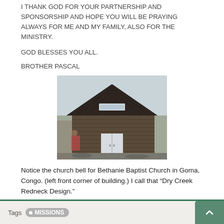I THANK GOD FOR YOUR PARTNERSHIP AND SPONSORSHIP AND HOPE YOU WILL BE PRAYING ALWAYS FOR ME AND MY FAMILY, ALSO FOR THE MINISTRY.
GOD BLESSES YOU ALL.
BROTHER PASCAL
[Figure (photo): A wooden church building with a gabled roof, white double doors, and a sign above the entrance. People visible at the left front corner of the building. Bethanie Baptist Church in Goma, Congo.]
Notice the church bell for Bethanie Baptist Church in Goma, Congo. (left front corner of building.)  I call that “Dry Creek Redneck Design.”
Save
Tags MISSIONS